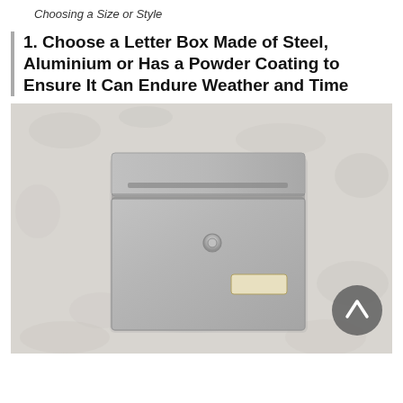Choosing a Size or Style
1. Choose a Letter Box Made of Steel, Aluminium or Has a Powder Coating to Ensure It Can Endure Weather and Time
[Figure (photo): A silver/grey metal letter box (mailbox) mounted on a rough white textured wall. The mailbox has a mail slot at the top, a circular lock/button in the center, and a small rectangular cream-colored label holder at the bottom right. A dark grey circular back-to-top button is visible in the lower right corner of the image.]